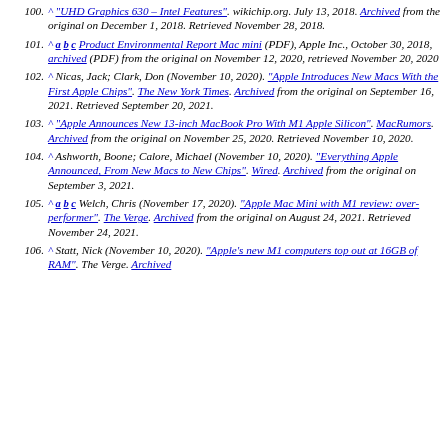100. ^ "UHD Graphics 630 – Intel Features". wikichip.org. July 13, 2018. Archived from the original on December 1, 2018. Retrieved November 28, 2018.
101. ^ a b c Product Environmental Report Mac mini (PDF), Apple Inc., October 30, 2018, archived (PDF) from the original on November 12, 2020, retrieved November 20, 2020
102. ^ Nicas, Jack; Clark, Don (November 10, 2020). "Apple Introduces New Macs With the First Apple Chips". The New York Times. Archived from the original on September 16, 2021. Retrieved September 20, 2021.
103. ^ "Apple Announces New 13-inch MacBook Pro With M1 Apple Silicon". MacRumors. Archived from the original on November 25, 2020. Retrieved November 10, 2020.
104. ^ Ashworth, Boone; Calore, Michael (November 10, 2020). "Everything Apple Announced, From New Macs to New Chips". Wired. Archived from the original on September 3, 2021.
105. ^ a b c Welch, Chris (November 17, 2020). "Apple Mac Mini with M1 review: over-performer". The Verge. Archived from the original on August 24, 2021. Retrieved November 24, 2021.
106. ^ Statt, Nick (November 10, 2020). "Apple's new M1 computers top out at 16GB of RAM". The Verge. Archived